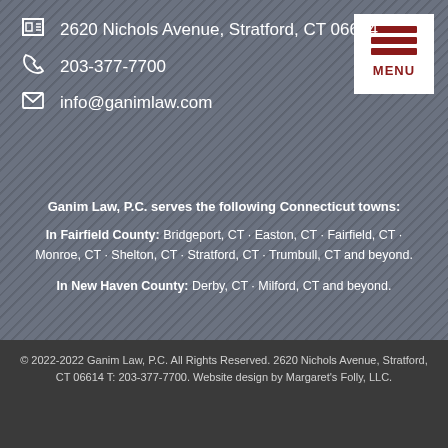2620 Nichols Avenue, Stratford, CT 06614
203-377-7700
info@ganimlaw.com
[Figure (other): MENU button with three dark red horizontal bars and MENU label on white background]
Ganim Law, P.C. serves the following Connecticut towns:
In Fairfield County: Bridgeport, CT · Easton, CT · Fairfield, CT · Monroe, CT · Shelton, CT · Stratford, CT · Trumbull, CT and beyond.
In New Haven County: Derby, CT · Milford, CT and beyond.
© 2022-2022 Ganim Law, P.C. All Rights Reserved. 2620 Nichols Avenue, Stratford, CT 06614 T: 203-377-7700. Website design by Margaret's Folly, LLC.